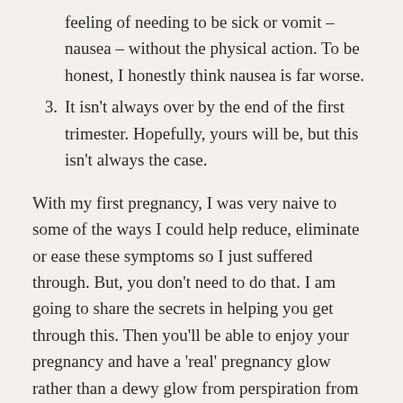feeling of needing to be sick or vomit – nausea – without the physical action. To be honest, I honestly think nausea is far worse.
3. It isn't always over by the end of the first trimester. Hopefully, yours will be, but this isn't always the case.
With my first pregnancy, I was very naive to some of the ways I could help reduce, eliminate or ease these symptoms so I just suffered through. But, you don't need to do that. I am going to share the secrets in helping you get through this. Then you'll be able to enjoy your pregnancy and have a 'real' pregnancy glow rather than a dewy glow from perspiration from on going heaving.